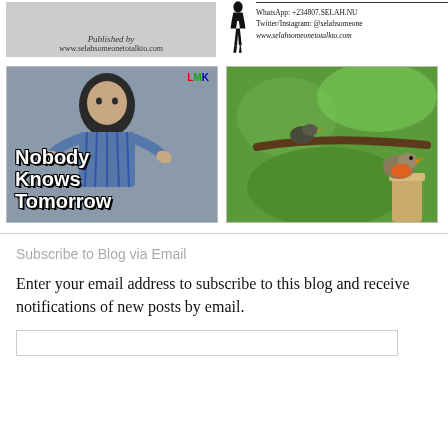[Figure (logo): Top left banner with 'Published by www.selahsomeonetotalkto.com' text on grey background]
[Figure (logo): Top right contact info with silhouette figure, WhatsApp +234807.SELAH.NU, Twitter/Instagram: @selahsomeone, www.selahsomeonetotalkto.com]
[Figure (photo): A young child with curly hair making a shrug gesture, wearing a plaid shirt, with text overlay 'Nobody Knows Tomorrow' and LMK logo in corner]
[Figure (photo): Two birds on a branch against a green bokeh background; one bird is a robin with orange-red breast]
Subscribe to Blog via Email
Enter your email address to subscribe to this blog and receive notifications of new posts by email.